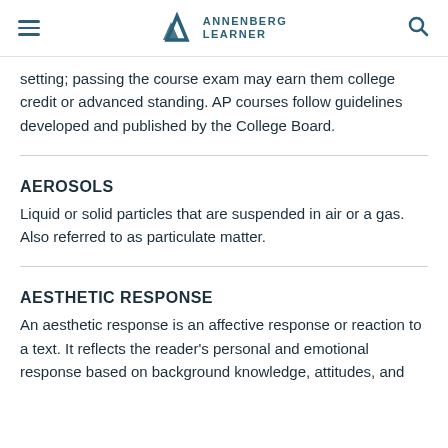ANNENBERG LEARNER
setting; passing the course exam may earn them college credit or advanced standing. AP courses follow guidelines developed and published by the College Board.
AEROSOLS
Liquid or solid particles that are suspended in air or a gas. Also referred to as particulate matter.
AESTHETIC RESPONSE
An aesthetic response is an affective response or reaction to a text. It reflects the reader's personal and emotional response based on background knowledge, attitudes, and